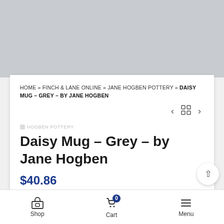[Figure (photo): Grey hero banner image at top of page]
HOME » FINCH & LANE ONLINE » JANE HOGBEN POTTERY » DAISY MUG – GREY – BY JANE HOGBEN
HOGBEN POTTERY (brand label)
Daisy Mug – Grey – by Jane Hogben
$40.86
Jane Hogben pottery is made entirely by hand in Buckinghamshire, UK. Due to the handmade nature,
Shop   Cart 0   Menu